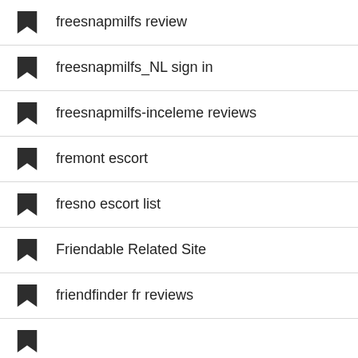freesnapmilfs review
freesnapmilfs_NL sign in
freesnapmilfs-inceleme reviews
fremont escort
fresno escort list
Friendable Related Site
friendfinder fr reviews